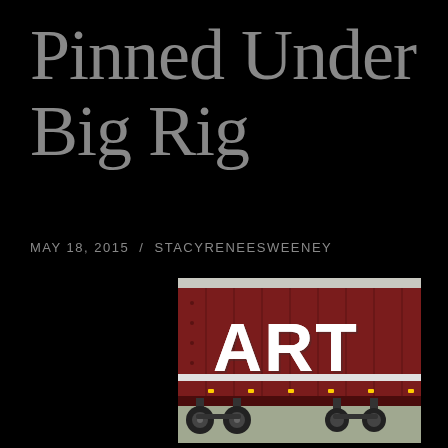Pinned Under Big Rig
MAY 18, 2015 / STACYRENEESWEENEY
[Figure (photo): A dark red/maroon large truck trailer with the word 'ART' painted in large white letters on its side, photographed from the side in a parking lot.]